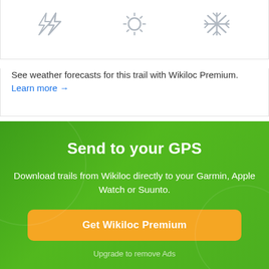[Figure (illustration): Three weather icons (lightning/storm, sun, snowflake) in light gray on white background]
See weather forecasts for this trail with Wikiloc Premium. Learn more →
Send to your GPS
Download trails from Wikiloc directly to your Garmin, Apple Watch or Suunto.
Get Wikiloc Premium
Upgrade to remove Ads
⬇ Download
Send trail to GPS